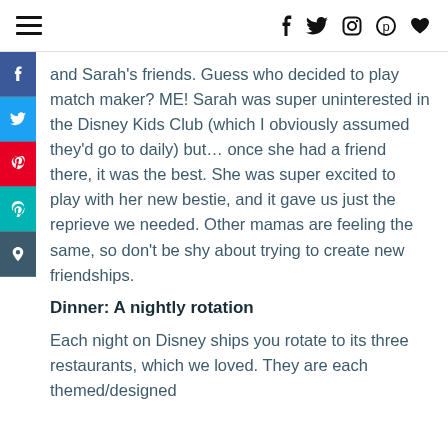☰  f  𝕥  ◎  ⊕  ♥
and Sarah's friends. Guess who decided to play match maker? ME! Sarah was super uninterested in the Disney Kids Club (which I obviously assumed they'd go to daily) but… once she had a friend there, it was the best. She was super excited to play with her new bestie, and it gave us just the reprieve we needed. Other mamas are feeling the same, so don't be shy about trying to create new friendships.
Dinner: A nightly rotation
Each night on Disney ships you rotate to its three restaurants, which we loved. They are each themed/designed